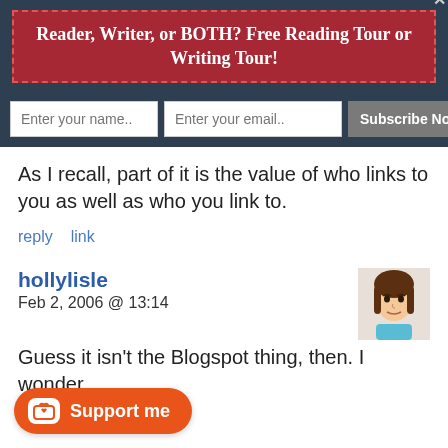Reader, Writer, or BOTH? Free Reading Tour or Writing Tour!
As I recall, part of it is the value of who links to you as well as who you link to.
reply   link
hollylisle
Feb 2, 2006 @ 13:14
Guess it isn't the Blogspot thing, then. I wonder s these things.
Support me